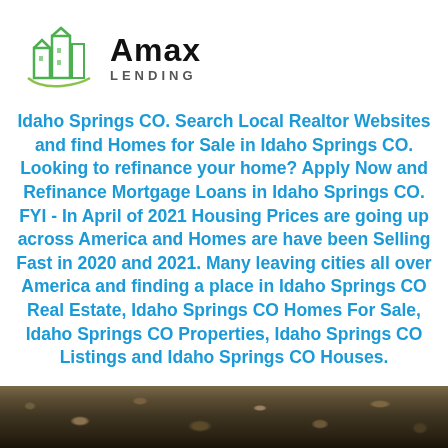[Figure (logo): Amax Lending logo with green building icon and bold text]
Idaho Springs CO. Search Local Realtor Websites and find Homes for Sale in Idaho Springs CO. Looking to refinance your home? Apply Now and Refinance Mortgage Loans in Idaho Springs CO. FYI - In April of 2021 Housing Prices are going up across America and Homes are have been Selling Fast in 2020 and 2021. Many leaving cities all over America and finding a place in Idaho Springs CO Real Estate, Idaho Springs CO Homes For Sale, Idaho Springs CO Properties, Idaho Springs CO Listings and Idaho Springs CO Houses.
[Figure (photo): Aerial or ground-level photo of rocky/earthen terrain, dark brown tones]